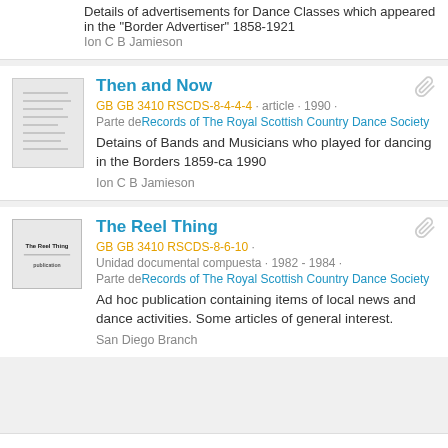Details of advertisements for Dance Classes which appeared in the "Border Advertiser" 1858-1921
Ion C B Jamieson
Then and Now
GB GB 3410 RSCDS-8-4-4-4 · article · 1990 · Parte de Records of The Royal Scottish Country Dance Society
Detains of Bands and Musicians who played for dancing in the Borders 1859-ca 1990
Ion C B Jamieson
The Reel Thing
GB GB 3410 RSCDS-8-6-10 · Unidad documental compuesta · 1982 - 1984 · Parte de Records of The Royal Scottish Country Dance Society
Ad hoc publication containing items of local news and dance activities. Some articles of general interest.
San Diego Branch